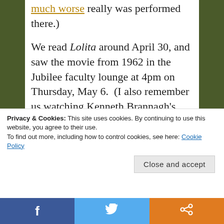much worse really was performed there.)
We read Lolita around April 30, and saw the movie from 1962 in the Jubilee faculty lounge at 4pm on Thursday, May 6.  (I also remember us watching Kenneth Brannagh's excellent version of Henry V in that room.)
Domino's Pizza had just mailed to everyone an announcement that they would deliver to Roanoke, so Wesley ordered some.
Since the movie was written by the author,
Privacy & Cookies: This site uses cookies. By continuing to use this website, you agree to their use.
To find out more, including how to control cookies, see here: Cookie Policy
Close and accept